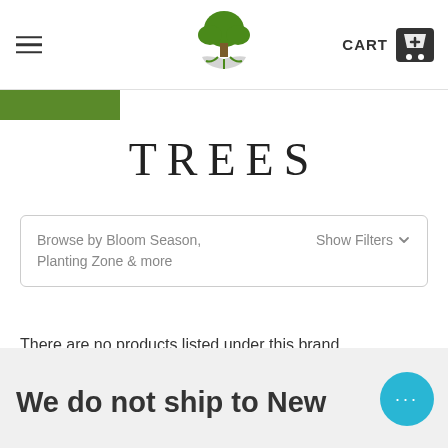CART
TREES
Browse by Bloom Season, Planting Zone & more   Show Filters
There are no products listed under this brand.
We do not ship to New